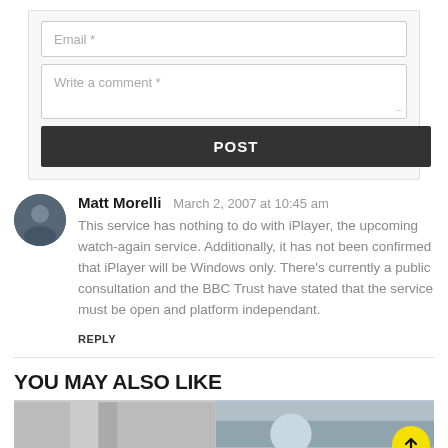[Figure (screenshot): Email input field placeholder]
[Figure (screenshot): Write a comment text area placeholder]
[Figure (screenshot): POST button dark background]
Matt Morelli   March 2, 2007 at 10:45 am
This service has nothing to do with iPlayer, the upcoming watch-again service. Additionally, it has not been confirmed that iPlayer will be Windows only. There's currently a public consultation and the BBC Trust have stated that the service must be open and platform independant.
REPLY
YOU MAY ALSO LIKE
[Figure (photo): Two thumbnail images side by side below YOU MAY ALSO LIKE section]